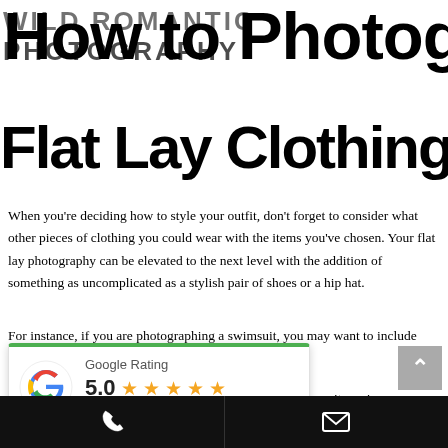WILD ROMANTIC PHOTOGRAPHY
How to Photograph Flat Lay Clothing?
When you're deciding how to style your outfit, don't forget to consider what other pieces of clothing you could wear with the items you've chosen. Your flat lay photography can be elevated to the next level with the addition of something as uncomplicated as a stylish pair of shoes or a hip hat.
For instance, if you are photographing a swimsuit, you may want to include accessories such as a wide-brimmed hat, sunglasses.
[Figure (infographic): Google Rating popup with green top border, Google G logo, rating of 5.0 with five orange stars, and 'Based on 267 reviews']
these items in your er an outfit that you wanted to wear. For instance, you could wrap a necklace
Phone icon | Mail icon